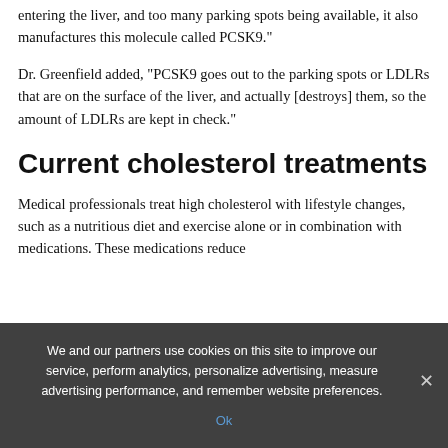entering the liver, and too many parking spots being available, it also manufactures this molecule called PCSK9."
Dr. Greenfield added, "PCSK9 goes out to the parking spots or LDLRs that are on the surface of the liver, and actually [destroys] them, so the amount of LDLRs are kept in check."
Current cholesterol treatments
Medical professionals treat high cholesterol with lifestyle changes, such as a nutritious diet and exercise alone or in combination with medications. These medications reduce
We and our partners use cookies on this site to improve our service, perform analytics, personalize advertising, measure advertising performance, and remember website preferences.
Ok